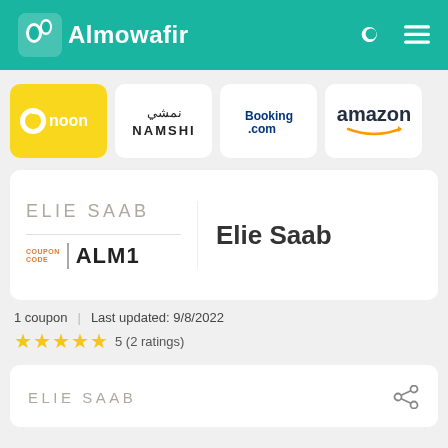Almowafir
[Figure (logo): noon logo - yellow background with circular icon and 'noon' text]
[Figure (logo): Namshi logo - Arabic text and NAMSHI text]
[Figure (logo): Booking.com logo]
[Figure (logo): amazon logo]
[Figure (logo): ELIE SAAB brand logo with coupon code ALM1]
Elie Saab
1 coupon | Last updated: 9/8/2022
5 (2 ratings)
ELIE SAAB